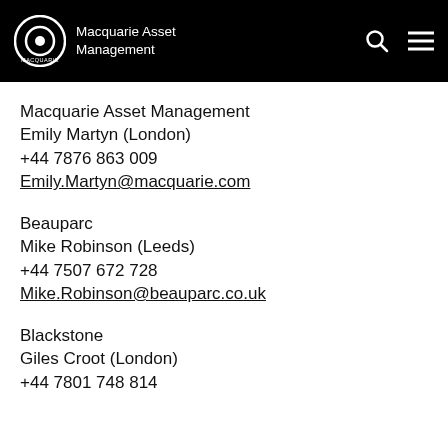Macquarie Asset Management
Macquarie Asset Management
Emily Martyn (London)
+44 7876 863 009
Emily.Martyn@macquarie.com
Beauparc
Mike Robinson (Leeds)
+44 7507 672 728
Mike.Robinson@beauparc.co.uk
Blackstone
Giles Croot (London)
+44 7801 748 814